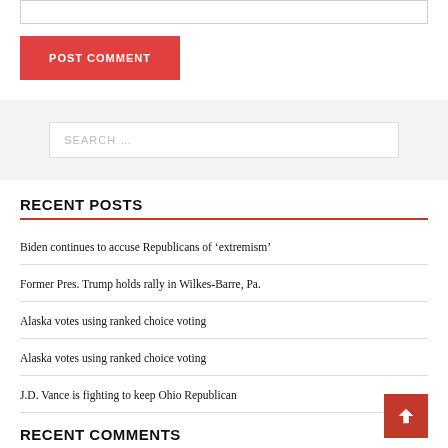[Figure (other): Text input box at the top of the page]
POST COMMENT
[Figure (other): Search input box with placeholder text SEARCH ...]
RECENT POSTS
Biden continues to accuse Republicans of ‘extremism’
Former Pres. Trump holds rally in Wilkes-Barre, Pa.
Alaska votes using ranked choice voting
Alaska votes using ranked choice voting
J.D. Vance is fighting to keep Ohio Republican
RECENT COMMENTS